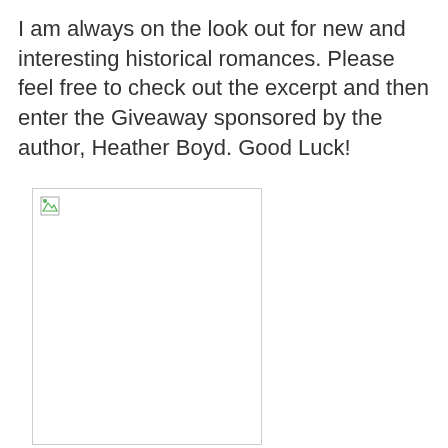I am always on the look out for new and interesting historical romances. Please feel free to check out the excerpt and then enter the Giveaway sponsored by the author, Heather Boyd. Good Luck!
[Figure (other): Broken/missing image placeholder with a small broken image icon in the top-left corner, outlined by a light gray border.]